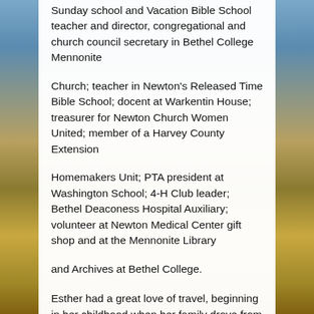Sunday school and Vacation Bible School teacher and director, congregational and church council secretary in Bethel College Mennonite
Church; teacher in Newton's Released Time Bible School; docent at Warkentin House; treasurer for Newton Church Women United; member of a Harvey County Extension
Homemakers Unit; PTA president at Washington School; 4-H Club leader; Bethel Deaconess Hospital Auxiliary; volunteer at Newton Medical Center gift shop and at the Mennonite Library
and Archives at Bethel College.
Esther had a great love of travel, beginning in her childhood when her family drove from Idaho in a Model T Ford to visit relatives in Kansas in the 1930s. In her married life, the family
traveled to many places, including across the Western United States and several times to Europe. She and Jim also traveled to the Soviet Union, Israel and